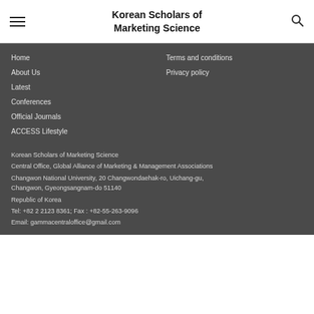Korean Scholars of Marketing Science
Home
Terms and conditions
About Us
Privacy policy
Latest
Conferences
Official Journals
ACCESS Lifestyle
Korean Scholars of Marketing Science
Central Office, Global Alliance of Marketing & Management Associations
Changwon National University, 20 Changwondaehak-ro, Uichang-gu, Changwon, Gyeongsangnam-do 51140
Republic of Korea
Tel: +82 2 2123 8361; Fax : +82-55-263-9096
Email: gammacentraloffice@gmail.com